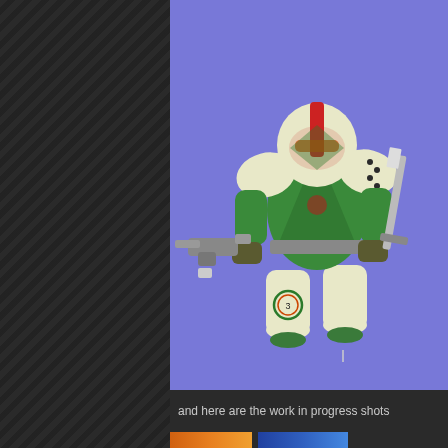[Figure (illustration): Digital illustration of a green Space Marine style armored warrior holding a gun in one hand and a sword in the other, with white armor accents, red stripe on helmet, and a decorative emblem on one leg. Set against a purple/periwinkle background.]
and here are the work in progress shots
[Figure (photo): Bottom strip showing partial work-in-progress photos, partially cut off — orange/warm toned on left, blue toned on right.]